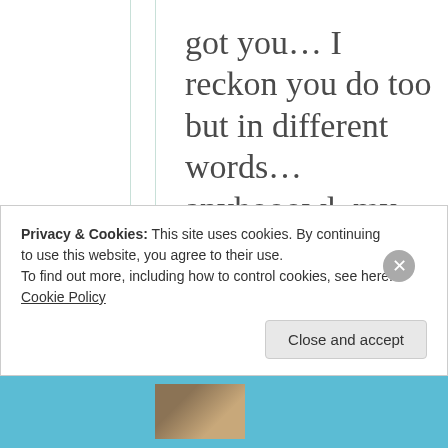got you… I reckon you do too but in different words… anyhooowl, my brain is on overdrive so apols… but do, if you wanna, check out time compression techniques and there historical use…. have a great weekend too and
Privacy & Cookies: This site uses cookies. By continuing to use this website, you agree to their use. To find out more, including how to control cookies, see here: Cookie Policy
Close and accept